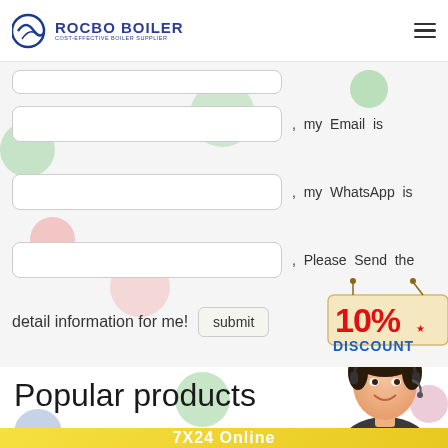[Figure (logo): Rocbo Boiler logo with circular emblem and text 'ROCBO BOILER / COST-EFFECTIVE BOILER SUPPLIER']
[Figure (screenshot): Web form section with three input fields labeled for Email, WhatsApp, and phone, with text ', my Email is', ', my WhatsApp is', ', Please Send the detail information for me!' and a submit button, plus a 10% DISCOUNT badge]
, my Email is
, my WhatsApp is
, Please Send the detail information for me!
Popular products
[Figure (photo): Customer service agent with headset smiling]
7X24 Online